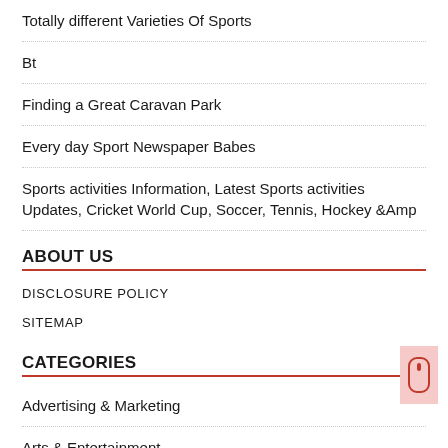Totally different Varieties Of Sports
Bt
Finding a Great Caravan Park
Every day Sport Newspaper Babes
Sports activities Information, Latest Sports activities Updates, Cricket World Cup, Soccer, Tennis, Hockey &Amp
ABOUT US
DISCLOSURE POLICY
SITEMAP
CATEGORIES
Advertising & Marketing
Arts & Entertainment